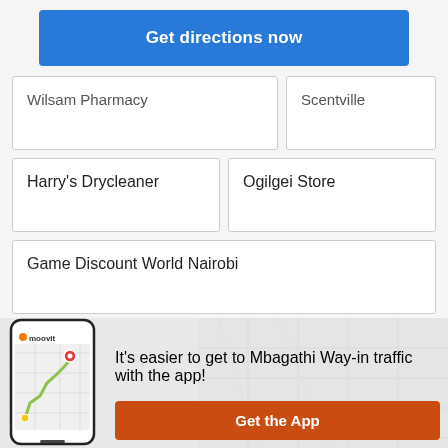Get directions now
Wilsam Pharmacy
Scentville
Harry's Drycleaner
Ogilgei Store
Game Discount World Nairobi
Sadina Supermarket
Langata Primary School Field
[Figure (screenshot): Moovit app screenshot showing a route on a map]
It's easier to get to Mbagathi Way-in traffic with the app!
Get the App